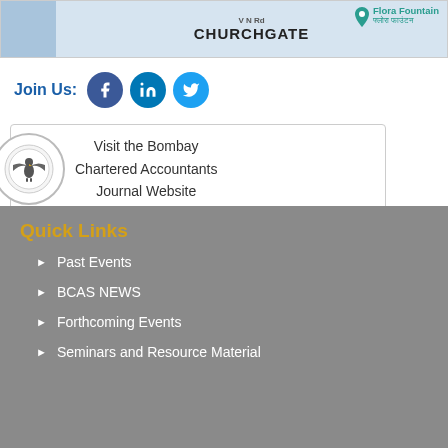[Figure (map): Google Maps snippet showing Churchgate area with VN Rd label and Flora Fountain location marker]
Join Us:
[Figure (infographic): Social media icons: Facebook, LinkedIn, Twitter]
[Figure (infographic): BCAS logo circle with eagle emblem and box with text: Visit the Bombay Chartered Accountants Journal Website]
Quick Links
Past Events
BCAS NEWS
Forthcoming Events
Seminars and Resource Material